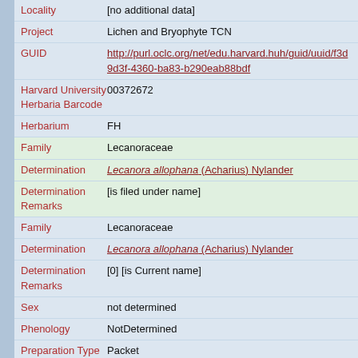| Field | Value |
| --- | --- |
| Locality | [no additional data] |
| Project | Lichen and Bryophyte TCN |
| GUID | http://purl.oclc.org/net/edu.harvard.huh/guid/uuid/f3d9d3f-4360-ba83-b290eab88bdf |
| Harvard University Herbaria Barcode | 00372672 |
| Herbarium | FH |
| Family | Lecanoraceae |
| Determination | Lecanora allophana (Acharius) Nylander |
| Determination Remarks | [is filed under name] |
| Family | Lecanoraceae |
| Determination | Lecanora allophana (Acharius) Nylander |
| Determination Remarks | [0] [is Current name] |
| Sex | not determined |
| Phenology | NotDetermined |
| Preparation Type | Packet |
| Preparation | Dried |